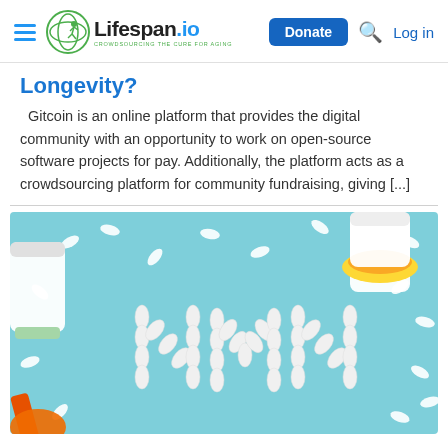Lifespan.io — CROWDSOURCING THE CURE FOR AGING | Donate | Log in
Longevity?
Gitcoin is an online platform that provides the digital community with an opportunity to work on open-source software projects for pay. Additionally, the platform acts as a crowdsourcing platform for community fundraising, giving [...]
[Figure (photo): Photo of white capsule pills arranged to spell 'NMN' on a light blue background, with white and yellow supplement bottles nearby and an orange scoop in the foreground.]